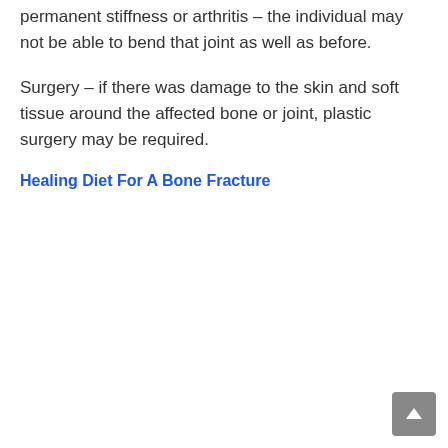permanent stiffness or arthritis – the individual may not be able to bend that joint as well as before.
Surgery – if there was damage to the skin and soft tissue around the affected bone or joint, plastic surgery may be required.
Healing Diet For A Bone Fracture